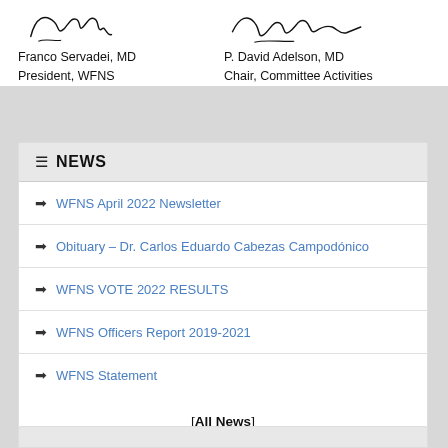Franco Servadei, MD
President, WFNS
P. David Adelson, MD
Chair, Committee Activities
☰ NEWS
➔ WFNS April 2022 Newsletter
➔ Obituary – Dr. Carlos Eduardo Cabezas Campodónico
➔ WFNS VOTE 2022 RESULTS
➔ WFNS Officers Report 2019-2021
➔ WFNS Statement
[All News]